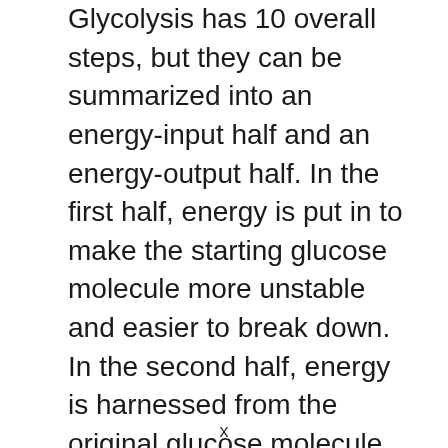Glycolysis has 10 overall steps, but they can be summarized into an energy-input half and an energy-output half. In the first half, energy is put in to make the starting glucose molecule more unstable and easier to break down. In the second half, energy is harnessed from the original glucose molecule (which has been broken down and processed somewhat). We put in 2 units of ATP (cellular energy) to get things started, but we get 4 back out. Not the most fruitful of outputs, but enough to keep simple organisms running, and enough to keep larger organism going for a short time
x